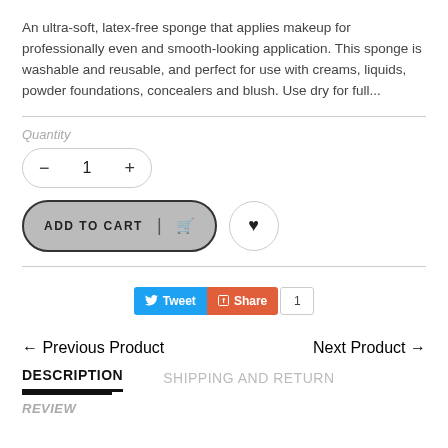An ultra-soft, latex-free sponge that applies makeup for professionally even and smooth-looking application. This sponge is washable and reusable, and perfect for use with creams, liquids, powder foundations, concealers and blush. Use dry for full...
Quantity
[Figure (screenshot): Quantity selector control showing minus button, number 1, and plus button inside a pill-shaped border]
[Figure (screenshot): Add to Cart button (gray pill with dark border, uppercase text, cart icon) and a circular wishlist/heart button]
[Figure (screenshot): Social sharing buttons: blue Tweet button, orange Share button, and a count box showing 1]
← Previous Product
Next Product →
DESCRIPTION
SHIPPING AND RETURN
REVIEW